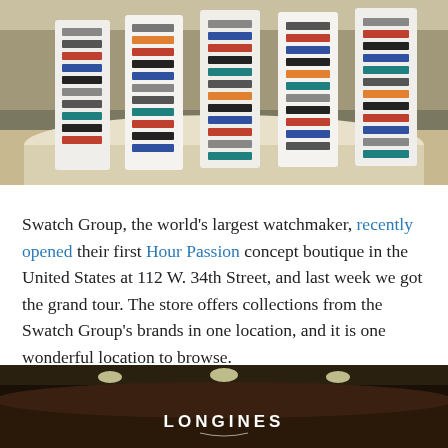[Figure (photo): Interior photo of a watch boutique showing curved white display stands filled with rows of watches on display cards, with colorful watch straps visible. The store has a modern retail interior.]
Swatch Group, the world's largest watchmaker, recently opened their first Hour Passion concept boutique in the United States at 112 W. 34th Street, and last week we got the grand tour. The store offers collections from the Swatch Group's brands in one location, and it is one wonderful location to browse.
[Figure (photo): Interior photo of a dark, upscale watch boutique section with curved dark wood counters and ceiling spotlights. The LONGINES logo is displayed in white text at the center of the dark counter display.]